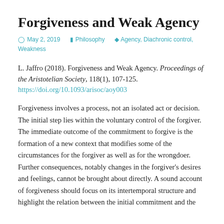Forgiveness and Weak Agency
May 2, 2019   Philosophy   Agency, Diachronic control, Weakness
L. Jaffro (2018). Forgiveness and Weak Agency. Proceedings of the Aristotelian Society, 118(1), 107-125. https://doi.org/10.1093/arisoc/aoy003
Forgiveness involves a process, not an isolated act or decision. The initial step lies within the voluntary control of the forgiver. The immediate outcome of the commitment to forgive is the formation of a new context that modifies some of the circumstances for the forgiver as well as for the wrongdoer. Further consequences, notably changes in the forgiver's desires and feelings, cannot be brought about directly. A sound account of forgiveness should focus on its intertemporal structure and highlight the relation between the initial commitment and the